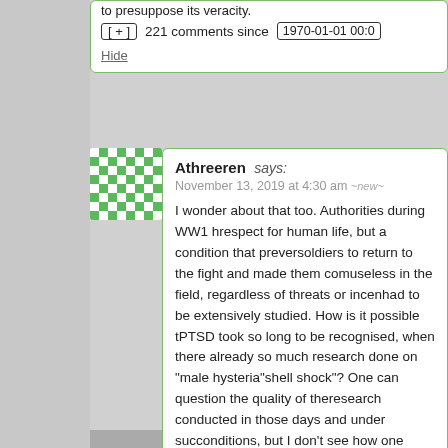to presuppose its veracity.
[ + ]   221 comments since   1970-01-01 00:0
Hide
Athreeren says:
November 13, 2019 at 4:30 am ~new~
I wonder about that too. Authorities during WW1 had no respect for human life, but a condition that prevented soldiers to return to the fight and made them completely useless in the field, regardless of threats or incentives, had to be extensively studied. How is it possible that PTSD took so long to be recognised, when there was already so much research done on "male hysteria" / "shell shock"? One can question the quality of the research conducted in those days and under such conditions, but I don't see how one would question the existence of the condition.
Hide ↑